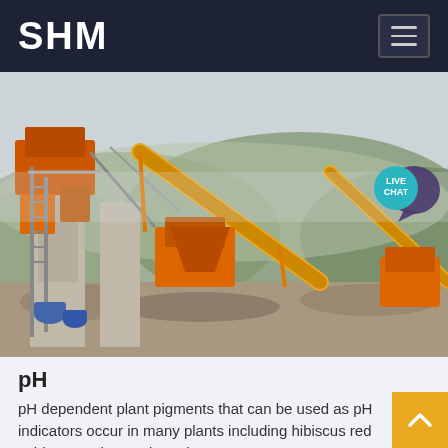SHM
[Figure (photo): Industrial mining/crushing plant with orange conveyor belts and machinery against a hillside backdrop]
pH
pH dependent plant pigments that can be used as pH indicators occur in many plants including hibiscus red cabbage anthocyanin and orange